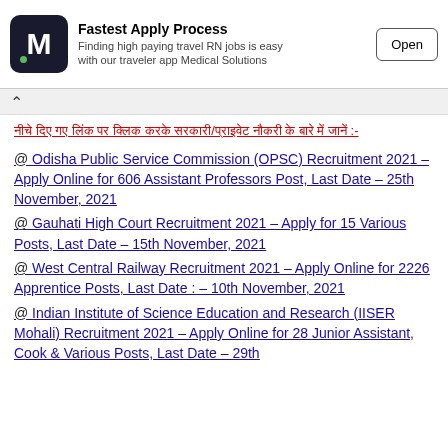[Figure (other): Advertisement banner for Medical Solutions app showing logo with M letter, text 'Fastest Apply Process - Finding high paying travel RN jobs is easy with our traveler app Medical Solutions', and an Open button]
नीचे दिए गए लिंक पर क्लिक करके सरकारी/प्राइवेट नौकरी के बारे में जानें :-
@ Odisha Public Service Commission (OPSC) Recruitment 2021 – Apply Online for 606 Assistant Professors Post, Last Date – 25th November, 2021
@ Gauhati High Court Recruitment 2021 – Apply for 15 Various Posts, Last Date – 15th November, 2021
@ West Central Railway Recruitment 2021 – Apply Online for 2226 Apprentice Posts, Last Date : – 10th November, 2021
@ Indian Institute of Science Education and Research (IISER Mohali) Recruitment 2021 – Apply Online for 28 Junior Assistant, Cook & Various Posts, Last Date – 29th...